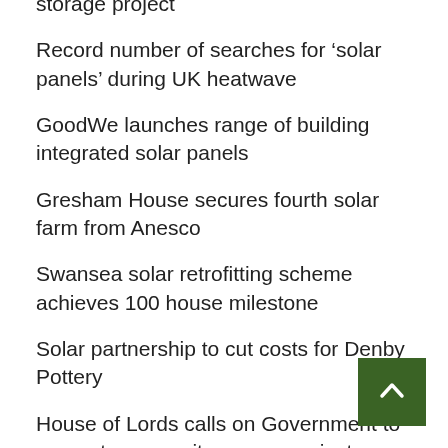storage project
Record number of searches for ‘solar panels’ during UK heatwave
GoodWe launches range of building integrated solar panels
Gresham House secures fourth solar farm from Anesco
Swansea solar retrofitting scheme achieves 100 house milestone
Solar partnership to cut costs for Denby Pottery
House of Lords calls on Government to support community energy projects
Lightsource bp to provide green power to Forterra via PPA deal
Network Rail signs new agreement with EDF Rene for Bloy’s Grove solar power